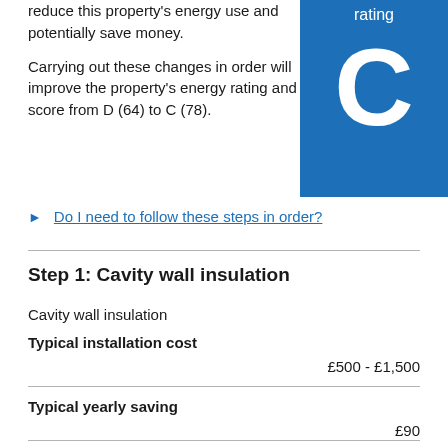reduce this property's energy use and potentially save money.
Carrying out these changes in order will improve the property's energy rating and score from D (64) to C (78).
[Figure (infographic): Blue square box with white text 'rating' at top and large white letter C below, indicating a C energy efficiency rating.]
Do I need to follow these steps in order?
Step 1: Cavity wall insulation
Cavity wall insulation
Typical installation cost
£500 - £1,500
Typical yearly saving
£90